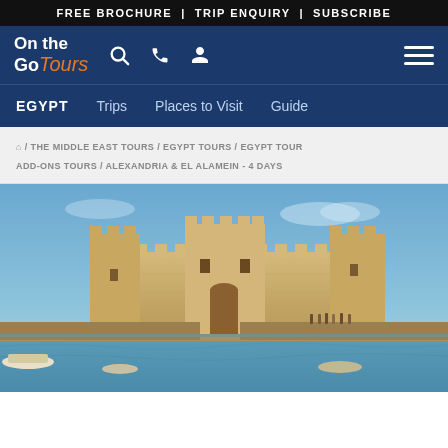FREE BROCHURE | TRIP ENQUIRY | SUBSCRIBE
[Figure (logo): On the Go Tours logo with navigation icons (search, phone, user) and hamburger menu on dark blue background]
EGYPT  Trips  Places to Visit  Guide
🏠 / THE MIDDLE EAST TOURS / EGYPT TOURS / EGYPT TOUR ADD-ONS TOURS / ALEXANDRIA & EL ALAMEIN - 4 DAYS
[Figure (photo): Coastal fortress (Citadel of Qaitbay) in Alexandria, Egypt, with turquoise sea and small boats in the foreground under a blue sky]